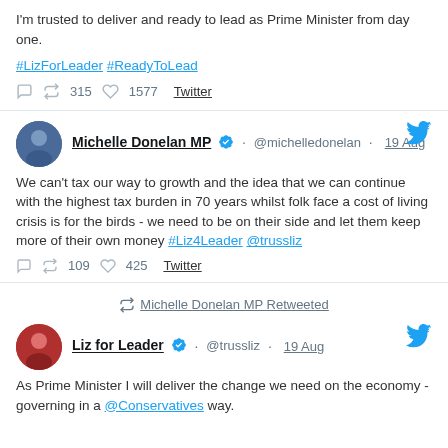I'm trusted to deliver and ready to lead as Prime Minister from day one.

#LizForLeader #ReadyToLead

315 retweets 1577 likes Twitter
Michelle Donelan MP @michelledonelan · 19 Aug
We can't tax our way to growth and the idea that we can continue with the highest tax burden in 70 years whilst folk face a cost of living crisis is for the birds - we need to be on their side and let them keep more of their own money #Liz4Leader @trussliz
109 retweets 425 likes Twitter
Michelle Donelan MP Retweeted
Liz for Leader @trussliz · 19 Aug
As Prime Minister I will deliver the change we need on the economy - governing in a @Conservatives way.